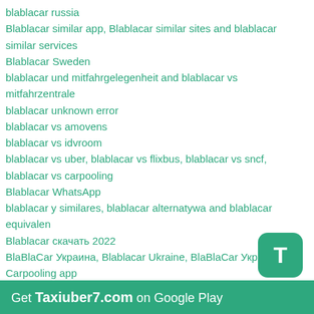blablacar russia
Blablacar similar app, Blablacar similar sites and blablacar similar services
Blablacar Sweden
blablacar und mitfahrgelegenheit and blablacar vs mitfahrzentrale
blablacar unknown error
blablacar vs amovens
blablacar vs idvroom
blablacar vs uber, blablacar vs flixbus, blablacar vs sncf, blablacar vs carpooling
Blablacar WhatsApp
blablacar y similares, blablacar alternatywa and blablacar equivalent
Blablacar скачать 2022
BlaBlaCar Украина, Blablacar Ukraine, BlaBlaCar Україна
Carpooling app
Convert Jpg to text
Coronavirus Covid-19 Online map 2021
Covert Pdf to Doc, Online Covert Pdf to Docx
Covid-19 and BlaBlaCar's unwavering commitment to innovation
CURRENT AIR QUALITY
Download video from Youtube
Getcontact Premium Mod APK download
happy birthday 2020, Ad gunu sekilleri 2020, Toy sekilleri 2020, C günü şəkilləri 2020,
wedding dresses 2020, wedding crashers, wedding wishes message